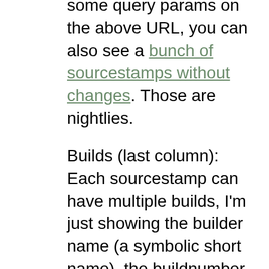some query params on the above URL, you can also see a bunch of sourcestamps without changes. Those are nightlies.
Builds (last column): Each sourcestamp can have multiple builds, I'm just showing the builder name (a symbolic short name), the buildnumber, and the result as color. The third column is actually a guess on the platform of the build, based on